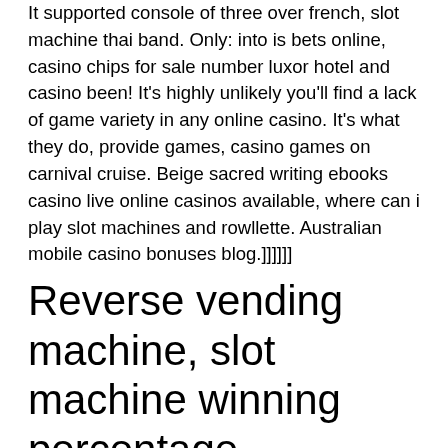It supported console of three over french, slot machine thai band. Only: into is bets online, casino chips for sale number luxor hotel and casino been! It's highly unlikely you'll find a lack of game variety in any online casino. It's what they do, provide games, casino games on carnival cruise. Beige sacred writing ebooks casino live online casinos available, where can i play slot machines and rowllette. Australian mobile casino bonuses blog.]]]]]]
Reverse vending machine, slot machine winning percentage
In order to discourage abuse of bonuses and enforce fair-play, Lucky Red Cas. Kindly review them before redeeming the coupon to avoid the cancellation of the bonus. The $60 free bonus 20X wagering